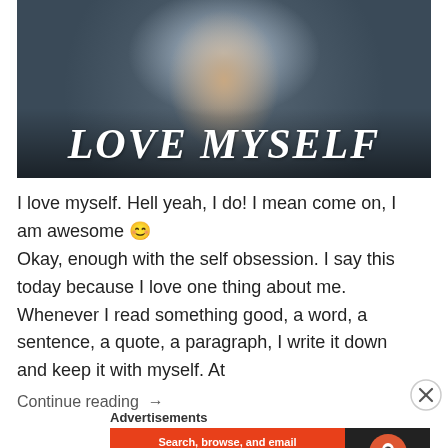[Figure (photo): A young woman smiling with her hands in her hair, wearing a dark jacket, with large italic white text 'LOVE MYSELF' overlaid at the bottom of the image.]
I love myself. Hell yeah, I do! I mean come on, I am awesome 😊 Okay, enough with the self obsession. I say this today because I love one thing about me. Whenever I read something good, a word, a sentence, a quote, a paragraph, I write it down and keep it with myself. At
Continue reading  →
Advertisements
[Figure (screenshot): DuckDuckGo advertisement banner: orange section with text 'Search, browse, and email with more privacy. All in One Free App', dark section with DuckDuckGo logo circle and 'DuckDuckGo' label.]